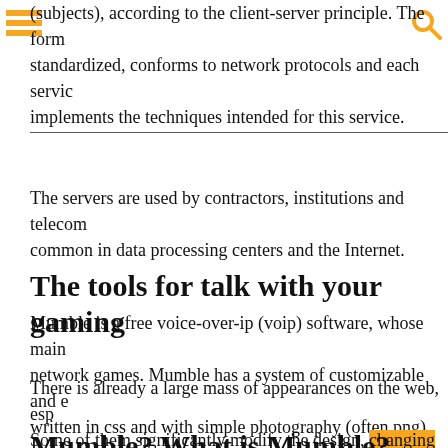(subjects), according to the client-server principle. The form is standardized, conforms to network protocols and each service implements the techniques intended for this service.
The servers are used by contractors, institutions and telecom common in data processing centers and the Internet.
The tools for talk with your gaming
Mumble is a free voice-over-ip (voip) software, whose main network games. Mumble has a system of customizable and written in css and with simple photography (often png).
There is already a large mass of appearances on the web, esp. Some of them significantly modify the design, changing the text), the whole software (menus, configuration & settings w
Mumble? What is Mumble?